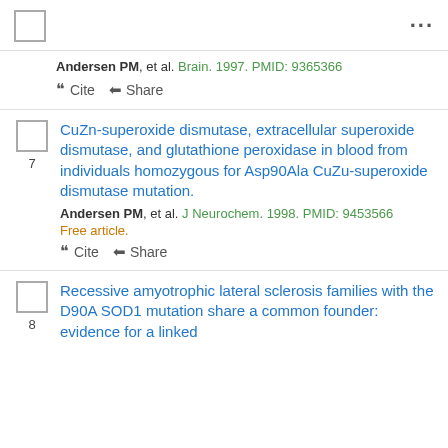Andersen PM, et al. Brain. 1997. PMID: 9365366
" Cite  Share
CuZn-superoxide dismutase, extracellular superoxide dismutase, and glutathione peroxidase in blood from individuals homozygous for Asp90Ala CuZu-superoxide dismutase mutation.
Andersen PM, et al. J Neurochem. 1998. PMID: 9453566
Free article.
" Cite  Share
Recessive amyotrophic lateral sclerosis families with the D90A SOD1 mutation share a common founder: evidence for a linked